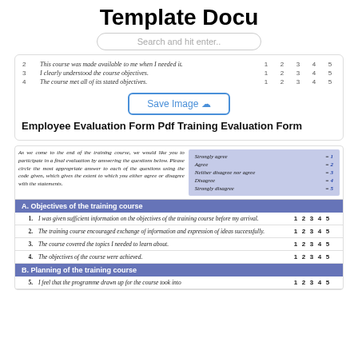Template Docu
Search and hit enter..
| # | Question | 1 | 2 | 3 | 4 | 5 |
| --- | --- | --- | --- | --- | --- | --- |
| 2 | This course was made available to me when I needed it. | 1 | 2 | 3 | 4 | 5 |
| 3 | I clearly understood the course objectives. | 1 | 2 | 3 | 4 | 5 |
| 4 | The course met all of its stated objectives. | 1 | 2 | 3 | 4 | 5 |
Save Image
Employee Evaluation Form Pdf Training Evaluation Form
As we come to the end of the training course, we would like you to participate in a final evaluation by answering the questions below. Please circle the most appropriate answer to each of the questions using the code given, which gives the extent to which you either agree or disagree with the statements.
| Scale | Value |
| --- | --- |
| Strongly agree | 1 |
| Agree | 2 |
| Neither disagree nor agree | 3 |
| Disagree | 4 |
| Strongly disagree | 5 |
A. Objectives of the training course
| # | Question | 1 | 2 | 3 | 4 | 5 |
| --- | --- | --- | --- | --- | --- | --- |
| 1. | I was given sufficient information on the objectives of the training course before my arrival. | 1 | 2 | 3 | 4 | 5 |
| 2. | The training course encouraged exchange of information and expression of ideas successfully. | 1 | 2 | 3 | 4 | 5 |
| 3. | The course covered the topics I needed to learn about. | 1 | 2 | 3 | 4 | 5 |
| 4. | The objectives of the course were achieved. | 1 | 2 | 3 | 4 | 5 |
B. Planning of the training course
5. I feel that the programme drawn up for the course took into
1  2  3  4  5